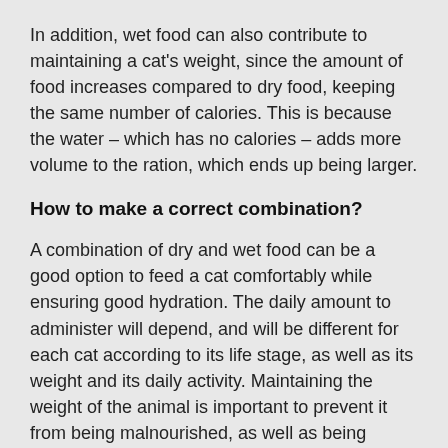In addition, wet food can also contribute to maintaining a cat's weight, since the amount of food increases compared to dry food, keeping the same number of calories. This is because the water – which has no calories – adds more volume to the ration, which ends up being larger.
How to make a correct combination?
A combination of dry and wet food can be a good option to feed a cat comfortably while ensuring good hydration. The daily amount to administer will depend, and will be different for each cat according to its life stage, as well as its weight and its daily activity. Maintaining the weight of the animal is important to prevent it from being malnourished, as well as being overweight.
Cats like to eat many times in small amounts, so